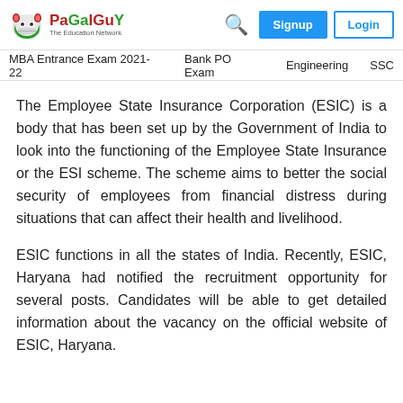PaGaLGuY – The Education Network | Search | Signup | Login
MBA Entrance Exam 2021-22  Bank PO Exam  Engineering  SSC
The Employee State Insurance Corporation (ESIC) is a body that has been set up by the Government of India to look into the functioning of the Employee State Insurance or the ESI scheme. The scheme aims to better the social security of employees from financial distress during situations that can affect their health and livelihood.
ESIC functions in all the states of India. Recently, ESIC, Haryana had notified the recruitment opportunity for several posts. Candidates will be able to get detailed information about the vacancy on the official website of ESIC, Haryana.